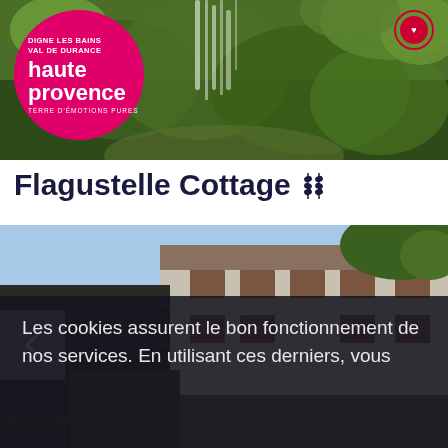[Figure (photo): Waterfall and lush green mossy rocks nature scene used as website header banner]
[Figure (logo): Pink circular logo reading 'DIGNE LES BAINS VAL DE DURANCE haute provence TERRE D'ÉMOTIONS PURES']
Flagustelle Cottage
[Figure (photo): Stone cottage building with brown wooden shutters, trees and blue sky background]
Les cookies assurent le bon fonctionnement de nos services. En utilisant ces derniers, vous